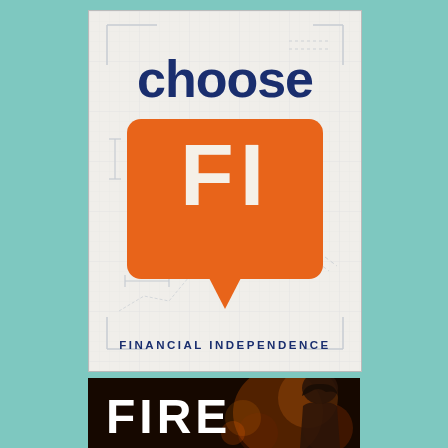[Figure (logo): Choose FI (Financial Independence) podcast logo: white/beige graph-paper background with blueprint corner markers, large dark navy 'choose' text above an orange rounded speech-bubble containing bold white 'FI' letters, with 'FINANCIAL INDEPENDENCE' text below in navy caps]
[Figure (photo): Dark image with bold white text 'FIRE' in the lower-left, with a person's silhouette visible on the right side against warm/orange bokeh background lighting]